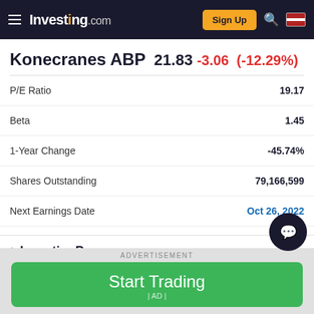Investing.com
Konecranes ABP 21.83 -3.06 (-12.29%)
|  |  |
| --- | --- |
| P/E Ratio | 19.17 |
| Beta | 1.45 |
| 1-Year Change | -45.74% |
| Shares Outstanding | 79,166,599 |
| Next Earnings Date | Oct 26, 2022 |
^ InvestingPro
ADVERTISEMENT
Start Trading | AD |